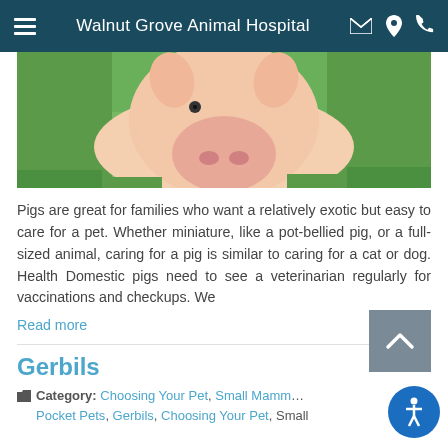Walnut Grove Animal Hospital
[Figure (photo): Close-up photo of a young pink pig lying in green grass]
Pigs are great for families who want a relatively exotic but easy to care for a pet. Whether miniature, like a pot-bellied pig, or a full-sized animal, caring for a pig is similar to caring for a cat or dog. Health Domestic pigs need to see a veterinarian regularly for vaccinations and checkups. We
Read more
Gerbils
Category: Choosing Your Pet, Small Mammals, Pocket Pets, Gerbils, Choosing Your Pet, Small